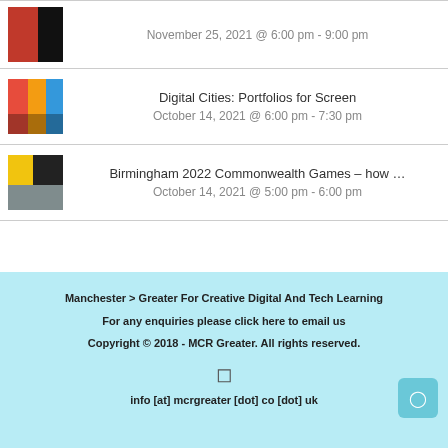November 25, 2021 @ 6:00 pm - 9:00 pm
Digital Cities: Portfolios for Screen
October 14, 2021 @ 6:00 pm - 7:30 pm
Birmingham 2022 Commonwealth Games – how …
October 14, 2021 @ 5:00 pm - 6:00 pm
Manchester > Greater For Creative Digital And Tech Learning
For any enquiries please click here to email us
Copyright © 2018 - MCR Greater. All rights reserved.
info [at] mcrgreater [dot] co [dot] uk